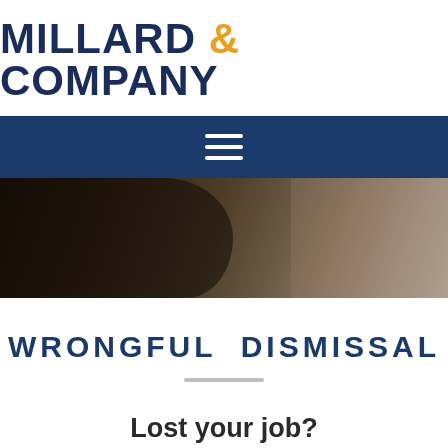MILLARD & COMPANY
[Figure (other): Dark navy navigation bar with white hamburger menu icon (three horizontal lines)]
[Figure (photo): Dark blurred background photo showing two people, possibly in a meeting or consultation setting, with one person in dark clothing and another in lighter clothing]
WRONGFUL DISMISSAL
Lost your job?
We can help.